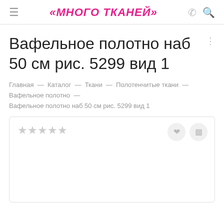«МНОГО ТКАНЕЙ»
Вафельное полотно наб 50 см рис. 5299 вид 1
Главная — Каталог — Ткани — Полотенчитые ткани — Вафельное полотно —
Вафельное полотно наб 50 см рис. 5299 вид 1
[Figure (other): Product image placeholder box with star rating icons and action buttons (heart and chart icon)]